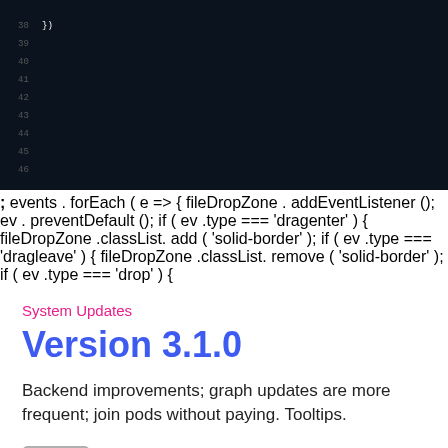[Figure (photo): A photograph of a dark monitor screen displaying JavaScript code with colorful syntax highlighting. Line numbers visible on the left (38-49). Code shows event listeners, dragenter/dragleave/drop handlers, classList.add/remove calls, and dataTransfer.files handling.]
System Updates
Version 3.1.0
Backend improvements; graph updates are more frequent; join pods without paying. Tooltips.
Lempod
March 2, 2022